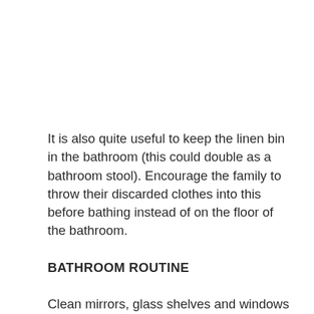It is also quite useful to keep the linen bin in the bathroom (this could double as a bathroom stool). Encourage the family to throw their discarded clothes into this before bathing instead of on the floor of the bathroom.
BATHROOM ROUTINE
Clean mirrors, glass shelves and windows regularly to remove soap splashes, hair spray and toothpaste. Hair spray can be